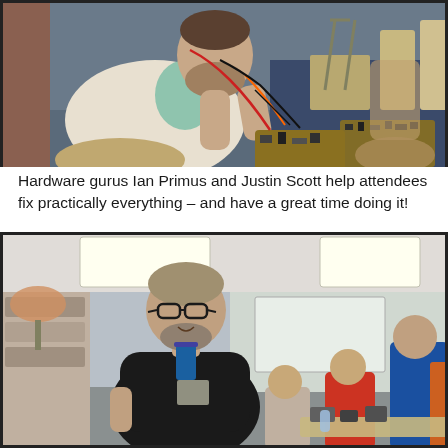[Figure (photo): A bearded man in a white t-shirt sits and works on electronic circuit boards with colorful wires in a workshop setting with various equipment in the background.]
Hardware gurus Ian Primus and Justin Scott help attendees fix practically everything – and have a great time doing it!
[Figure (photo): A man in a black t-shirt with glasses and a lanyard stands smiling in a room where several people are working on electronics repair projects at tables in the background.]